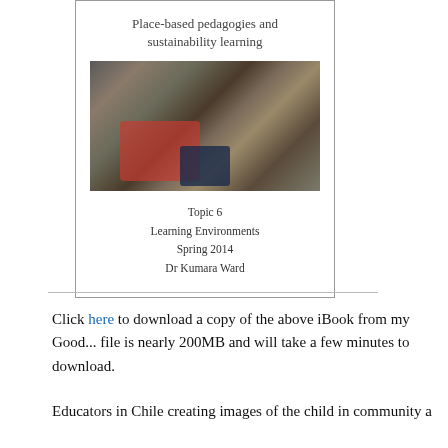[Figure (photo): Book cover showing 'Place-based pedagogies and sustainability learning' with a photo of children playing on the ground with toys/stuffed animals]
Topic 6
Learning Environments
Spring 2014
Dr Kumara Ward
Click here to download a copy of the above iBook from my Google Drive. The file is nearly 200MB and will take a few minutes to download.
Educators in Chile creating images of the child in community a